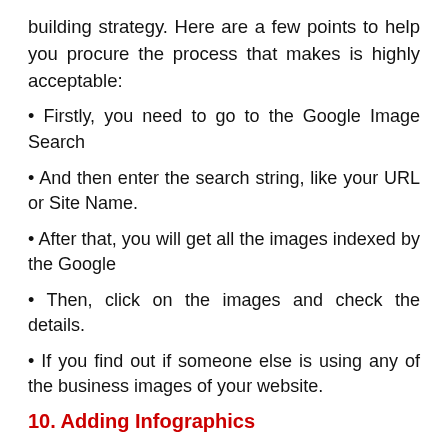building strategy. Here are a few points to help you procure the process that makes is highly acceptable:
• Firstly, you need to go to the Google Image Search
• And then enter the search string, like your URL or Site Name.
• After that, you will get all the images indexed by the Google
• Then, click on the images and check the details.
• If you find out if someone else is using any of the business images of your website.
10. Adding Infographics